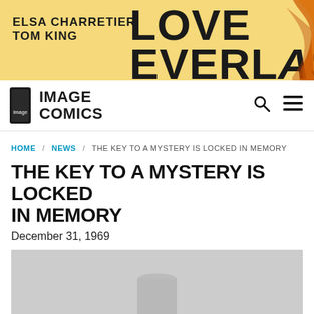[Figure (illustration): Advertisement banner for 'Love Everlasting' by Elsa Charretier and Tom King, yellow/gold background with orange flame decorations]
Image Comics navigation bar with logo and search/menu icons
HOME / NEWS / THE KEY TO A MYSTERY IS LOCKED IN MEMORY
THE KEY TO A MYSTERY IS LOCKED IN MEMORY
December 31, 1969
[Figure (photo): Gray placeholder image with a faint cylindrical shape in the center]